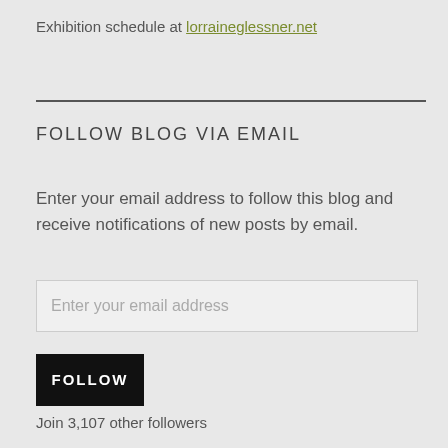Exhibition schedule at lorraineglessner.net
FOLLOW BLOG VIA EMAIL
Enter your email address to follow this blog and receive notifications of new posts by email.
Enter your email address
FOLLOW
Join 3,107 other followers